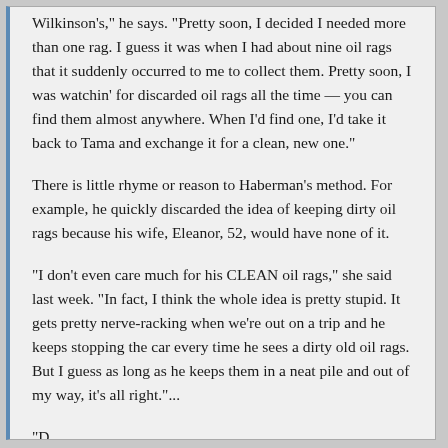Wilkinson's," he says. "Pretty soon, I decided I needed more than one rag. I guess it was when I had about nine oil rags that it suddenly occurred to me to collect them. Pretty soon, I was watchin' for discarded oil rags all the time — you can find them almost anywhere. When I'd find one, I'd take it back to Tama and exchange it for a clean, new one."
There is little rhyme or reason to Haberman's method. For example, he quickly discarded the idea of keeping dirty oil rags because his wife, Eleanor, 52, would have none of it.
"I don't even care much for his CLEAN oil rags," she said last week. "In fact, I think the whole idea is pretty stupid. It gets pretty nerve-racking when we're out on a trip and he keeps stopping the car every time he sees a dirty old oil rags. But I guess as long as he keeps them in a neat pile and out of my way, it's all right."...
"D...